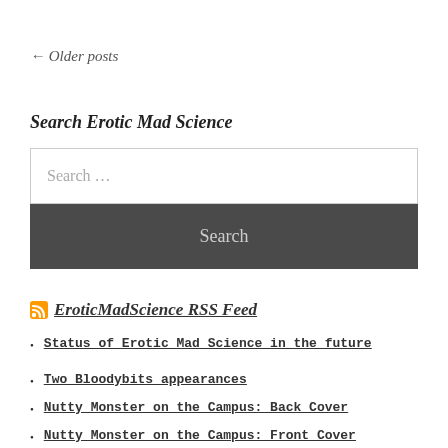← Older posts
Search Erotic Mad Science
Search …
Search
EroticMadScience RSS Feed
Status of Erotic Mad Science in the future
Two Bloodybits appearances
Nutty Monster on the Campus: Back Cover
Nutty Monster on the Campus: Front Cover